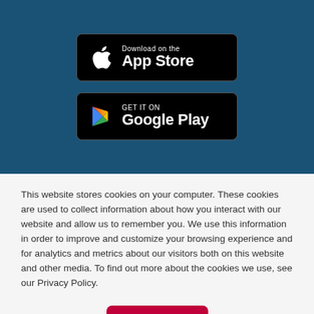[Figure (logo): Download on the App Store badge — black rounded rectangle with Apple logo and text 'Download on the App Store']
[Figure (logo): Get it on Google Play badge — black rounded rectangle with Google Play triangle logo and text 'GET IT ON Google Play']
This website stores cookies on your computer. These cookies are used to collect information about how you interact with our website and allow us to remember you. We use this information in order to improve and customize your browsing experience and for analytics and metrics about our visitors both on this website and other media. To find out more about the cookies we use, see our Privacy Policy.
Okay